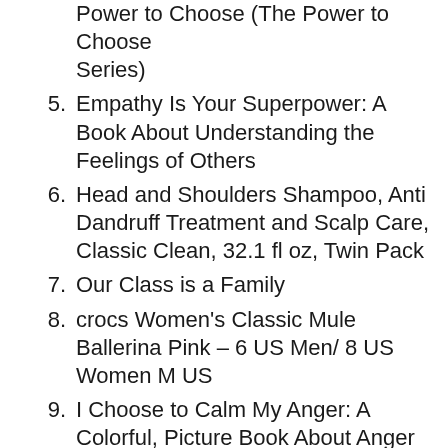Power to Choose (The Power to Choose Series)
5. Empathy Is Your Superpower: A Book About Understanding the Feelings of Others
6. Head and Shoulders Shampoo, Anti Dandruff Treatment and Scalp Care, Classic Clean, 32.1 fl oz, Twin Pack
7. Our Class is a Family
8. crocs Women's Classic Mule Ballerina Pink – 6 US Men/ 8 US Women M US
9. I Choose to Calm My Anger: A Colorful, Picture Book About Anger Management And Managing Difficult Feelings and Emotions
10. I Can Do Hard Things: Mindful Affirmations for Kids